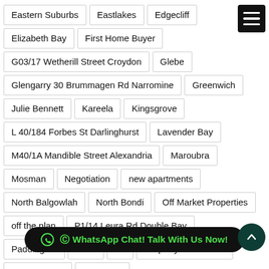Eastern Suburbs
Eastlakes
Edgecliff
Elizabeth Bay
First Home Buyer
G03/17 Wetherill Street Croydon
Glebe
Glengarry 30 Brummagen Rd Narromine
Greenwich
Julie Bennett
Kareela
Kingsgrove
L 40/184 Forbes St Darlinghurst
Lavender Bay
M40/1A Mandible Street Alexandria
Maroubra
Mosman
Negotiation
new apartments
North Balgowlah
North Bondi
Off Market Properties
off the plan
P1/14 Leura Rd Double Bay
Paddington
Point
Po...
Property Investment
Queens Park
Randwick
WhatsApp Chat! Talk With Us Now!